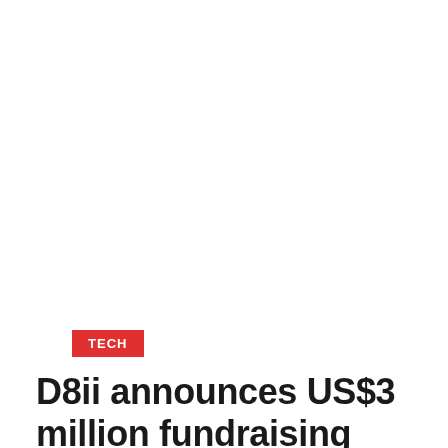TECH
D8ii announces US$3 million fundraising round
Home » Tech » D8ii Announces US$3 Million Fundrai...
Share this article
[Figure (infographic): Social share buttons: Facebook (blue circle), LINE (green circle), Twitter (cyan circle), Email (grey circle)]
D8 brings Silicon Valley style digital disruption